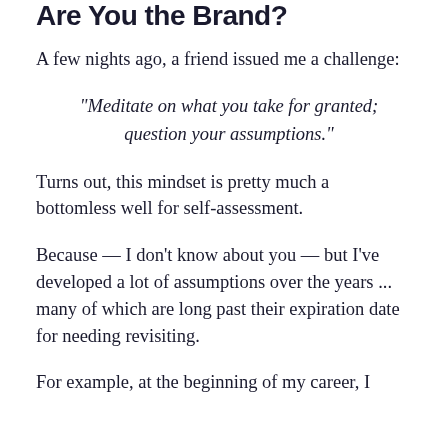Are You the Brand?
A few nights ago, a friend issued me a challenge:
“Meditate on what you take for granted; question your assumptions.”
Turns out, this mindset is pretty much a bottomless well for self-assessment.
Because — I don’t know about you — but I’ve developed a lot of assumptions over the years ... many of which are long past their expiration date for needing revisiting.
For example, at the beginning of my career, I